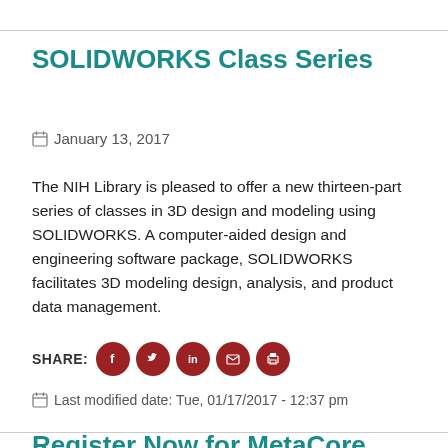SOLIDWORKS Class Series
January 13, 2017
The NIH Library is pleased to offer a new thirteen-part series of classes in 3D design and modeling using SOLIDWORKS. A computer-aided design and engineering software package, SOLIDWORKS facilitates 3D modeling design, analysis, and product data management.
SHARE:
Last modified date: Tue, 01/17/2017 - 12:37 pm
Register Now for MetaCore Training